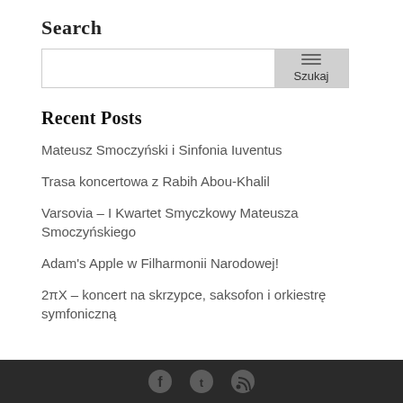Search
[Figure (other): Search input field with Szukaj button]
Recent Posts
Mateusz Smoczyński i Sinfonia Iuventus
Trasa koncertowa z Rabih Abou-Khalil
Varsovia – I Kwartet Smyczkowy Mateusza Smoczyńskiego
Adam's Apple w Filharmonii Narodowej!
2πX – koncert na skrzypce, saksofon i orkiestrę symfoniczną
Social media icons: Facebook, Twitter, RSS